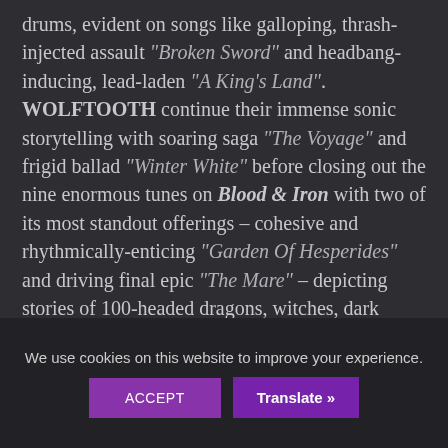drums, evident on songs like galloping, thrash-injected assault "Broken Sword" and headbang-inducing, lead-laden "A King's Land". WOLFTOOTH continue their immense sonic storytelling with soaring saga "The Voyage" and frigid ballad "Winter White" before closing out the nine enormous tunes on Blood & Iron with two of its most standout offerings – cohesive and rhythmically-enticing "Garden Of Hesperides" and driving final epic "The Mare" – depicting stories of 100-headed dragons, witches, dark horses and mind control. What more could a true metalhead ask for?
WOLFTOOTH adds about the album:
We use cookies on this website to improve your experience.
ACCEPT
Translate »